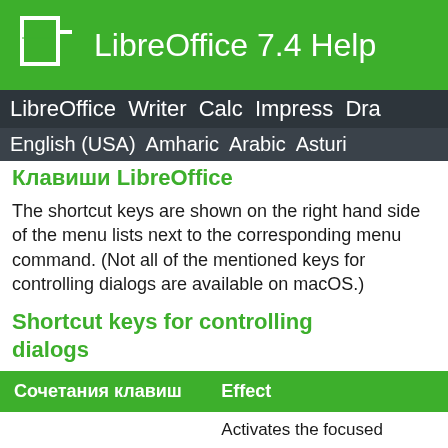LibreOffice 7.4 Help
LibreOffice Writer Calc Impress Dra
English (USA) Amharic Arabic Asturi
Клавиши LibreOffice
The shortcut keys are shown on the right hand side of the menu lists next to the corresponding menu command. (Not all of the mentioned keys for controlling dialogs are available on macOS.)
Shortcut keys for controlling dialogs
| Сочетания клавиш | Effect |
| --- | --- |
|  | Activates the focused |